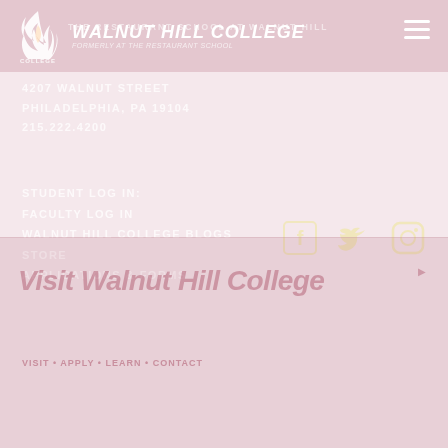[Figure (logo): Walnut Hill College flame logo with text 'Walnut Hill College' and subtitle 'formerly at The Restaurant School']
THE RESTAURANT SCHOOL AT WALNUT HILL
4207 WALNUT STREET
PHILADELPHIA, PA 19104
215.222.4200
STUDENT LOG IN:
FACULTY LOG IN
WALNUT HILL COLLEGE BLOGS
STORE
APPLICATIONS & FORMS
[Figure (illustration): Social media icons: Facebook, Twitter, Instagram in light yellow/cream color]
Visit Walnut Hill College
VISIT • APPLY • LEARN • CONTACT